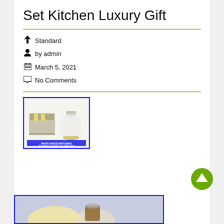Set Kitchen Luxury Gift
Standard
by admin
March 5, 2021
No Comments
[Figure (photo): White wood matching toaster and kettle combo set product image with blue border]
[Figure (photo): Second kitchen product image partially visible at bottom with blue border]